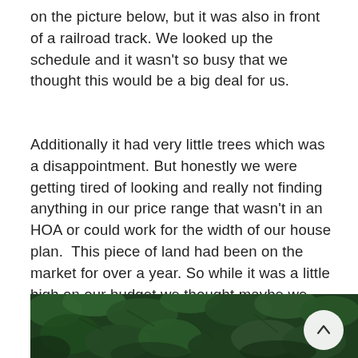on the picture below, but it was also in front of a railroad track. We looked up the schedule and it wasn't so busy that we thought this would be a big deal for us.
Additionally it had very little trees which was a disappointment. But honestly we were getting tired of looking and really not finding anything in our price range that wasn't in an HOA or could work for the width of our house plan.  This piece of land had been on the market for over a year. So while it was a little high on our budget we thought maybe we could get a good deal on it because it had sat unpurchased for so long.
[Figure (photo): Dense green conifer/evergreen foliage filling the frame, dark green trees viewed from below or close up. A circular white scroll-to-top button with an upward arrow is visible in the lower right of the image.]